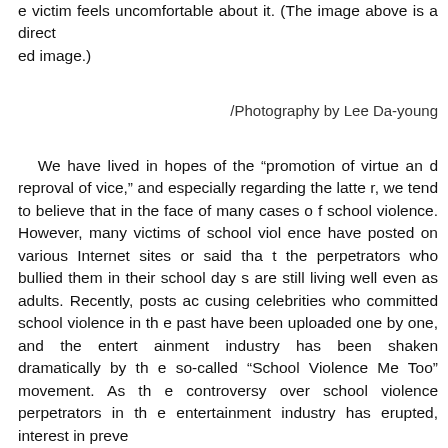e victim feels uncomfortable about it. (The image above is a directed image.)
/Photography by Lee Da-young
We have lived in hopes of the “promotion of virtue and reproval of vice,” and especially regarding the latter, we tend to believe that in the face of many cases of school violence. However, many victims of school violence have posted on various Internet sites or said that the perpetrators who bullied them in their school days are still living well even as adults. Recently, posts accusing celebrities who committed school violence in the past have been uploaded one by one, and the entertainment industry has been shaken dramatically by the so-called “School Violence Me Too” movement. As the controversy over school violence perpetrators in the entertainment industry has erupted, interest in preve